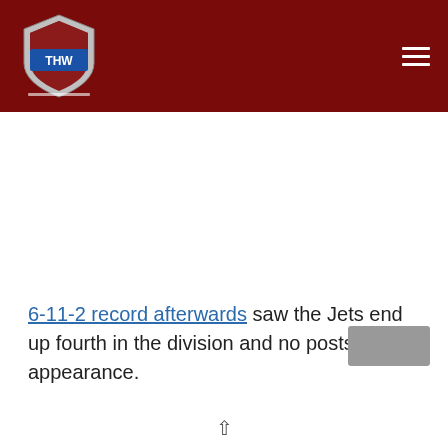[Figure (logo): THW Hockey Writers shield logo on dark red navigation header bar with hamburger menu icon]
6-11-2 record afterwards saw the Jets end up fourth in the division and no postseason appearance.